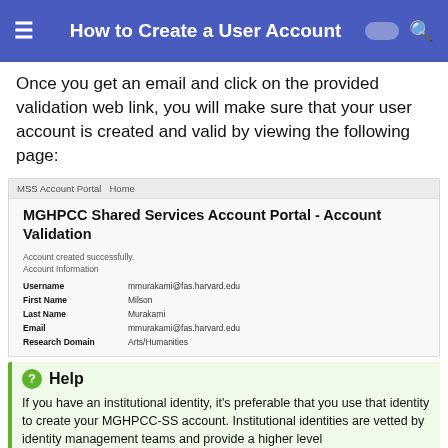How to Create a User Account
Once you get an email and click on the provided validation web link, you will make sure that your user account is created and valid by viewing the following page:
[Figure (screenshot): Screenshot of MGHPCC Shared Services Account Portal - Account Validation page showing account created successfully with user information table: Username mmurakami@fas.harvard.edu, First Name Milson, Last Name Murakami, Email mmurakami@fas.harvard.edu, Research Domain Arts/Humanities]
If you have an institutional identity, it's preferable that you use that identity to create your MGHPCC-SS account. Institutional identities are vetted by identity management teams and provide a higher level